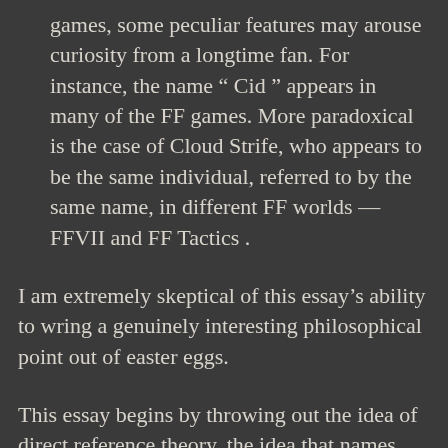games, some peculiar features may arouse curiosity from a longtime fan. For instance, the name “ Cid ” appears in many of the FF games. More paradoxical is the case of Cloud Strife, who appears to be the same individual, referred to by the same name, in different FF worlds — FFVII and FF Tactics .
I am extremely skeptical of this essay’s ability to wring a genuinely interesting philosophical point out of easter eggs.
This essay begins by throwing out the idea of direct reference theory, the idea that names